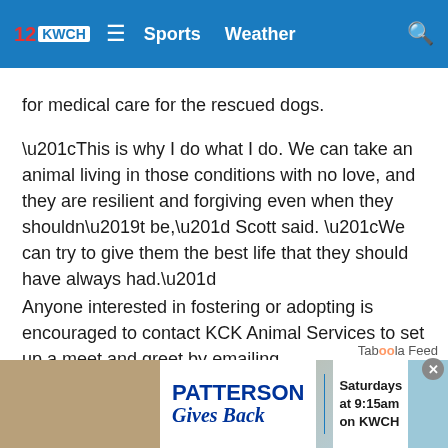12 KWCH  ≡  Sports  Weather  🔍
for medical care for the rescued dogs.
“This is why I do what I do. We can take an animal living in those conditions with no love, and they are resilient and forgiving even when they shouldn’t be,” Scott said. “We can try to give them the best life that they should have always had.”
Anyone interested in fostering or adopting is encouraged to contact KCK Animal Services to set up a meet and greet by emailing KCKPDAnimalServicesComplaints@kckpd.org or calling 913-321-1445.
Copyright 2022 KCTV. All rights reserved.
[Figure (screenshot): Taboola Feed label and Patterson Gives Back advertisement banner at the bottom of the page]